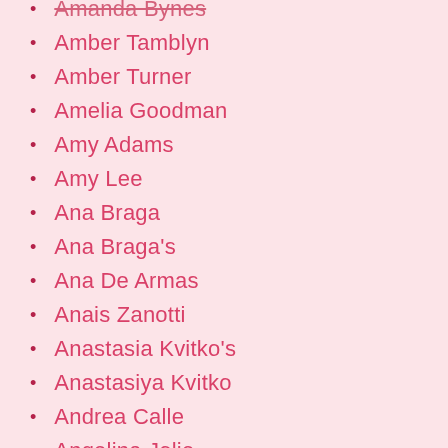Amanda Bynes
Amber Tamblyn
Amber Turner
Amelia Goodman
Amy Adams
Amy Lee
Ana Braga
Ana Braga's
Ana De Armas
Anais Zanotti
Anastasia Kvitko's
Anastasiya Kvitko
Andrea Calle
Angelina Jolie
Anitta
Anna Camp
ANNA JANDRASOPARK